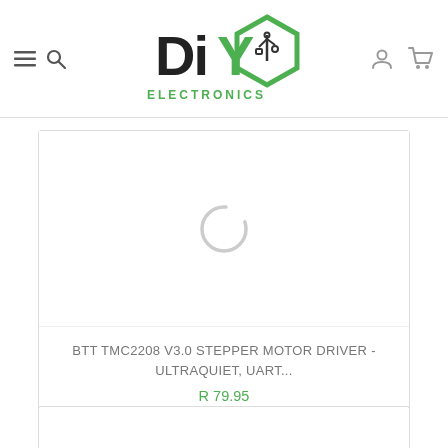DIY Electronics logo with hamburger, search, user, and cart icons
[Figure (screenshot): Loading spinner (circular progress indicator) on white background — product image not yet loaded]
BTT TMC2208 V3.0 STEPPER MOTOR DRIVER - ULTRAQUIET, UART...
R 79.95